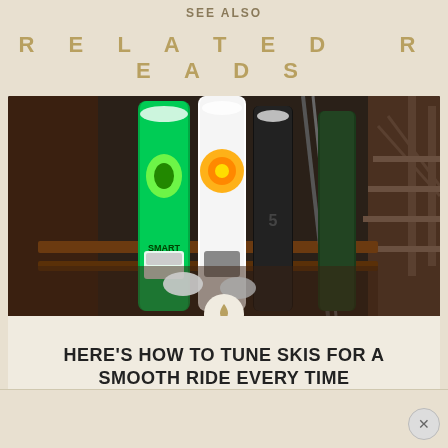SEE ALSO
RELATED READS
[Figure (photo): Snowboards and skis leaning against a wooden rack inside a ski lodge. Multiple colorful boards visible including a bright green one. Wooden staircase visible in background.]
HERE'S HOW TO TUNE SKIS FOR A SMOOTH RIDE EVERY TIME